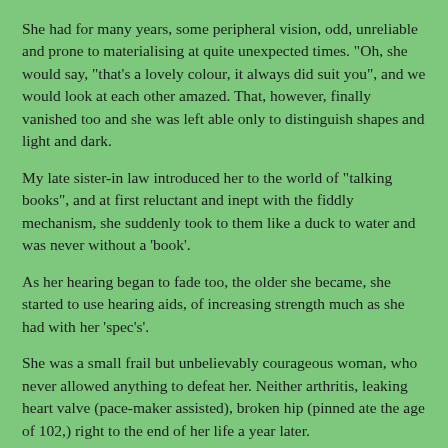She had for many years, some peripheral vision, odd, unreliable and prone to materialising at quite unexpected times.  "Oh, she would say, "that's a lovely colour, it always did suit you", and we would look at each other amazed.  That, however, finally vanished too and she was left able only to distinguish shapes and light and dark.
My late sister-in law introduced her to the world of "talking books", and at first reluctant and inept with the fiddly mechanism, she suddenly took to them like a duck to water and was never without a 'book'.
As her hearing began to fade too, the older she became, she started to use hearing aids, of increasing strength much as she had with her 'spec's'.
She was a small frail but unbelievably courageous woman, who never allowed anything to defeat her.  Neither arthritis, leaking heart valve (pace-maker assisted), broken hip (pinned ate the age of 102,) right to the end of her life a year later.
When my father died five years before she did, she went to live